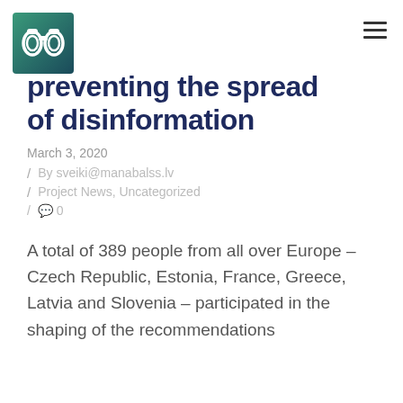[Figure (logo): Binoculars logo icon on a dark teal/green gradient square background]
preventing the spread of disinformation
March 3, 2020
/ By sveiki@manabalss.lv
/ Project News, Uncategorized
/ 0
A total of 389 people from all over Europe – Czech Republic, Estonia, France, Greece, Latvia and Slovenia – participated in the shaping of the recommendations